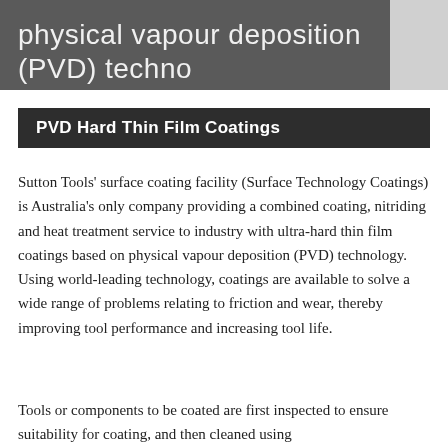[Figure (other): Header banner with dark grey background and lighter grey panel on the right, containing partial text 'physical vapour deposition (PVD) techno...' in light grey font]
PVD Hard Thin Film Coatings
Sutton Tools' surface coating facility (Surface Technology Coatings) is Australia's only company providing a combined coating, nitriding and heat treatment service to industry with ultra-hard thin film coatings based on physical vapour deposition (PVD) technology. Using world-leading technology, coatings are available to solve a wide range of problems relating to friction and wear, thereby improving tool performance and increasing tool life.
Tools or components to be coated are first inspected to ensure suitability for coating, and then cleaned using